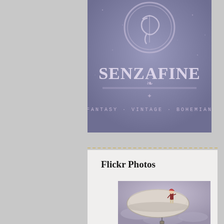[Figure (logo): Senzafine brand logo on purple/lavender background with circular emblem at top, large text 'SENZAFINE', decorative ornament divider, and tagline 'FANTASY · VINTAGE · BOHEMIAN']
Flickr Photos
[Figure (photo): A fantasy/steampunk style scene showing a large airship balloon or disc-shaped vessel with a small figure standing on it, against a cloudy lavender-grey sky background]